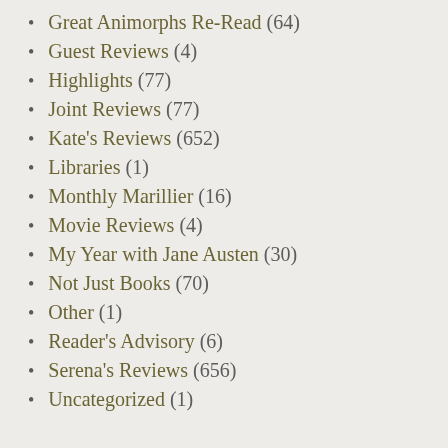Great Animorphs Re-Read (64)
Guest Reviews (4)
Highlights (77)
Joint Reviews (77)
Kate's Reviews (652)
Libraries (1)
Monthly Marillier (16)
Movie Reviews (4)
My Year with Jane Austen (30)
Not Just Books (70)
Other (1)
Reader's Advisory (6)
Serena's Reviews (656)
Uncategorized (1)